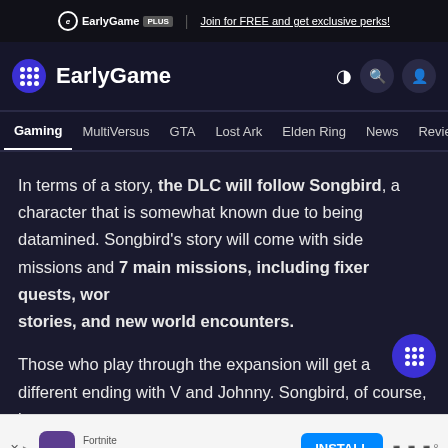EarlyGame PLUS | Join for FREE and get exclusive perks!
[Figure (logo): EarlyGame site header with logo, site name, and navigation icons]
Gaming  MultiVersus  GTA  Lost Ark  Elden Ring  News  Revie...
In terms of a story, the DLC will follow Songbird, a character that is somewhat known due to being datamined. Songbird's story will come with side missions and 7 main missions, including fixer quests, world stories, and new world encounters.
Those who play through the expansion will get a different ending with V and Johnny. Songbird, of course, it comes
[Figure (infographic): Advertisement banner: Fortnite - Get Fortnite for Free - INSTALL button]